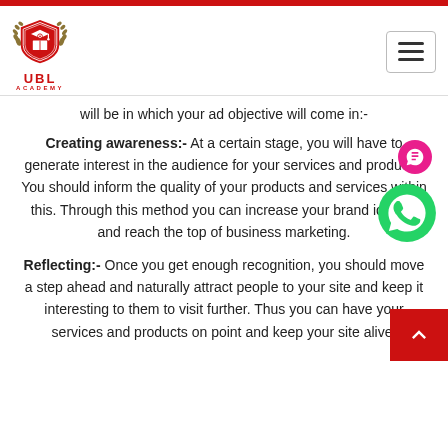[Figure (logo): UBL Academy logo with red shield emblem, text UBL ACADEMY below]
will be in which your ad objective will come in:-
Creating awareness:- At a certain stage, you will have to generate interest in the audience for your services and products. You should inform the quality of your products and services within this. Through this method you can increase your brand identity and reach the top of business marketing.
Reflecting:- Once you get enough recognition, you should move a step ahead and naturally attract people to your site and keep it interesting to them to visit further. Thus you can have your services and products on point and keep your site alive.